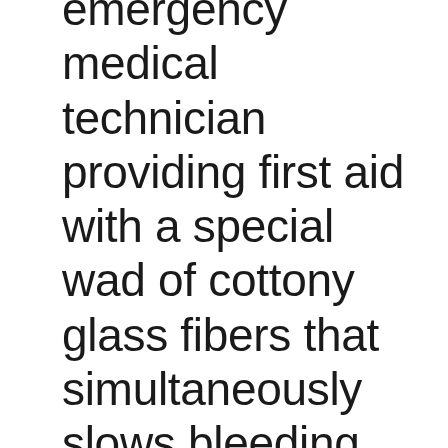emergency medical technician providing first aid with a special wad of cottony glass fibers that simultaneously slows bleeding, fights bacteria (and other sources of infection), stimulates the body's natural healing mechanisms, resists scarring, and — because it is quickly absorbed by surrounding tissue — may